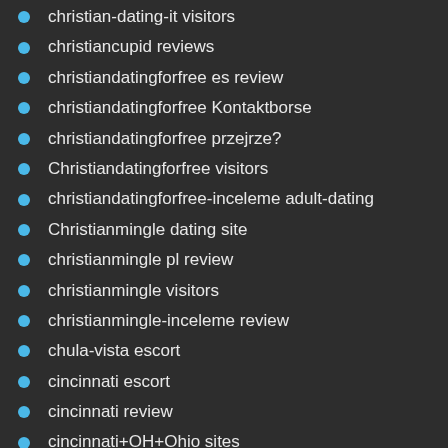christian-dating-it visitors
christiancupid reviews
christiandatingforfree es review
christiandatingforfree Kontaktborse
christiandatingforfree przejrze?
Christiandatingforfree visitors
christiandatingforfree-inceleme adult-dating
Christianmingle dating site
christianmingle pl review
christianmingle visitors
christianmingle-inceleme review
chula-vista escort
cincinnati escort
cincinnati review
cincinnati+OH+Ohio sites